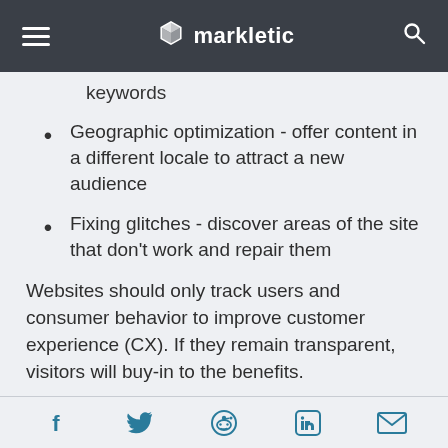markletic
keywords
Geographic optimization - offer content in a different locale to attract a new audience
Fixing glitches - discover areas of the site that don't work and repair them
Websites should only track users and consumer behavior to improve customer experience (CX). If they remain transparent, visitors will buy-in to the benefits.
Yet the process must remain legal and comply with
Social share icons: Facebook, Twitter, Reddit, LinkedIn, Email